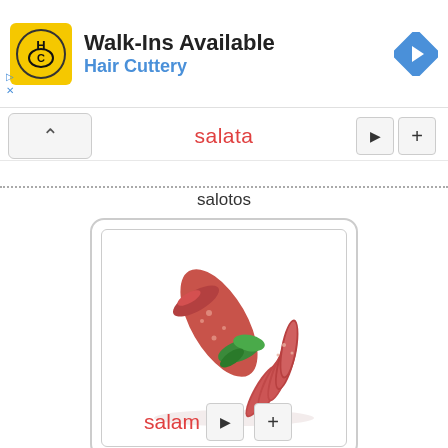[Figure (screenshot): Hair Cuttery advertisement banner with yellow HC logo, text 'Walk-Ins Available' and 'Hair Cuttery' in blue, and a blue navigation arrow icon]
salata
salotos
[Figure (photo): Photo of a salami sausage log partially sliced, with green herb garnish, on white background]
salam